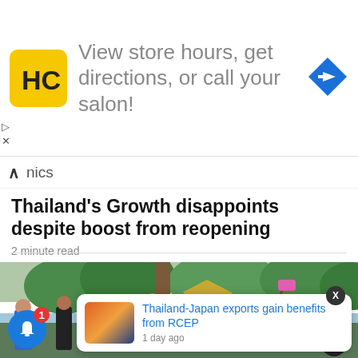[Figure (advertisement): HC salon logo in yellow square, text 'View store hours, get directions, or call your salon!' with blue diamond direction arrow icon]
nics
Thailand's Growth disappoints despite boost from reopening
2 minute read
[Figure (photo): Tourists in a park or garden setting with golden temple visible in background, trees and lake, tourists taking selfies]
[Figure (infographic): Notification popup: Thailand-Japan exports gain benefits from RCEP, 1 day ago, with small thumbnail image of boats at sunset]